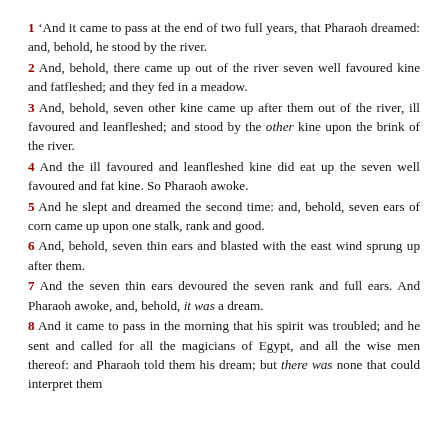1 'And it came to pass at the end of two full years, that Pharaoh dreamed: and, behold, he stood by the river.
2 And, behold, there came up out of the river seven well favoured kine and fatfleshed; and they fed in a meadow.
3 And, behold, seven other kine came up after them out of the river, ill favoured and leanfleshed; and stood by the other kine upon the brink of the river.
4 And the ill favoured and leanfleshed kine did eat up the seven well favoured and fat kine. So Pharaoh awoke.
5 And he slept and dreamed the second time: and, behold, seven ears of corn came up upon one stalk, rank and good.
6 And, behold, seven thin ears and blasted with the east wind sprung up after them.
7 And the seven thin ears devoured the seven rank and full ears. And Pharaoh awoke, and, behold, it was a dream.
8 And it came to pass in the morning that his spirit was troubled; and he sent and called for all the magicians of Egypt, and all the wise men thereof: and Pharaoh told them his dream; but there was none that could interpret them